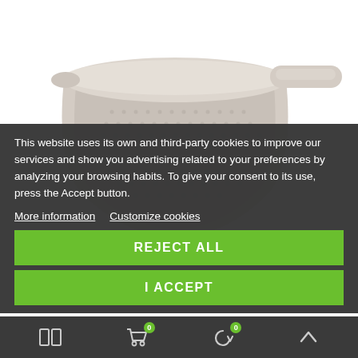[Figure (photo): A light beige/tan plastic colander/strainer with handle and small perforations, shown on white background]
This website uses its own and third-party cookies to improve our services and show you advertising related to your preferences by analyzing your browsing habits. To give your consent to its use, press the Accept button.
More information  Customize cookies
REJECT ALL
I ACCEPT